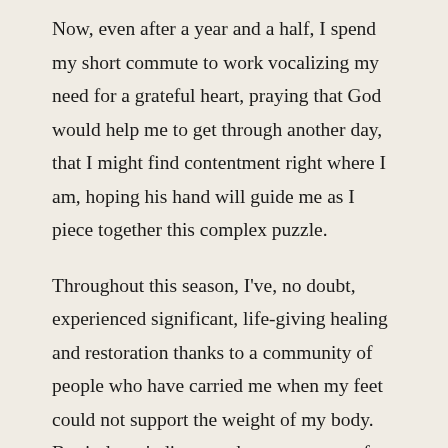Now, even after a year and a half, I spend my short commute to work vocalizing my need for a grateful heart, praying that God would help me to get through another day, that I might find contentment right where I am, hoping his hand will guide me as I piece together this complex puzzle.
Throughout this season, I've, no doubt, experienced significant, life-giving healing and restoration thanks to a community of people who have carried me when my feet could not support the weight of my body. But it doesn't discount those moments of pain and struggle and grief. Sometimes, the guilt and the deep wounds I harbor inside unexpectedly surface to remind me that perhaps this process will last a